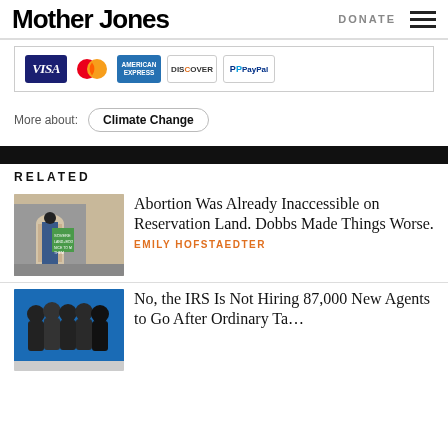Mother Jones | DONATE
[Figure (other): Payment method icons: Visa, MasterCard, American Express, Discover, PayPal]
More about: Climate Change
RELATED
[Figure (photo): Person holding a protest sign reading 'SOVEREIGN LAND + BODY NICE TO MEET YOU' standing in front of a building]
Abortion Was Already Inaccessible on Reservation Land. Dobbs Made Things Worse.
EMILY HOFSTAEDTER
[Figure (photo): Group of people in dark coats on a blue background]
No, the IRS Is Not Hiring 87,000 New Agents to Go After Ordinary Ta…